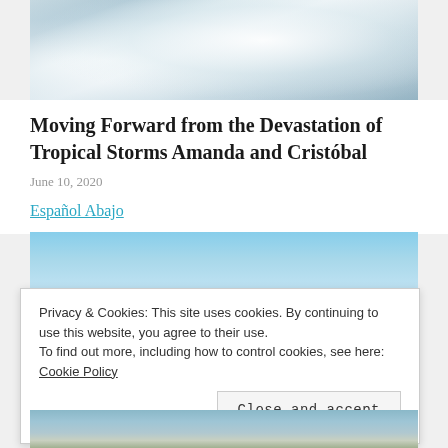[Figure (photo): Satellite image of tropical storm cloud formation, showing swirling white clouds over ocean]
Moving Forward from the Devastation of Tropical Storms Amanda and Cristóbal
June 10, 2020
Español Abajo
[Figure (photo): Clear blue sky photograph]
Privacy & Cookies: This site uses cookies. By continuing to use this website, you agree to their use. To find out more, including how to control cookies, see here: Cookie Policy
[Figure (photo): Flood scene with wooden structures partially submerged in water]